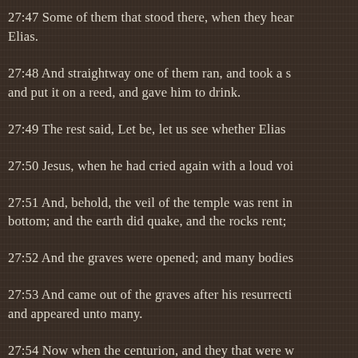27:47 Some of them that stood there, when they heard that, said, This man calleth for Elias.
27:48 And straightway one of them ran, and took a sponge, and filled it with vinegar, and put it on a reed, and gave him to drink.
27:49 The rest said, Let be, let us see whether Elias will come to save him.
27:50 Jesus, when he had cried again with a loud voice, yielded up the ghost.
27:51 And, behold, the veil of the temple was rent in twain from the top to the bottom; and the earth did quake, and the rocks rent;
27:52 And the graves were opened; and many bodies of the saints which slept arose,
27:53 And came out of the graves after his resurrection, and went into the holy city, and appeared unto many.
27:54 Now when the centurion, and they that were with him, watching Jesus, saw the earthquake, and those things that were done, they feared greatly, saying, Truly this was the Son of God.